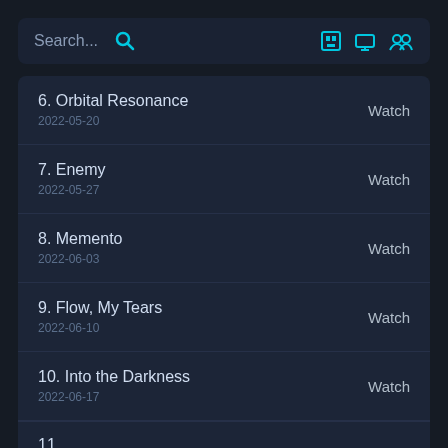Search...
6. Orbital Resonance
2022-05-20
Watch
7. Enemy
2022-05-27
Watch
8. Memento
2022-06-03
Watch
9. Flow, My Tears
2022-06-10
Watch
10. Into the Darkness
2022-06-17
Watch
11. ...